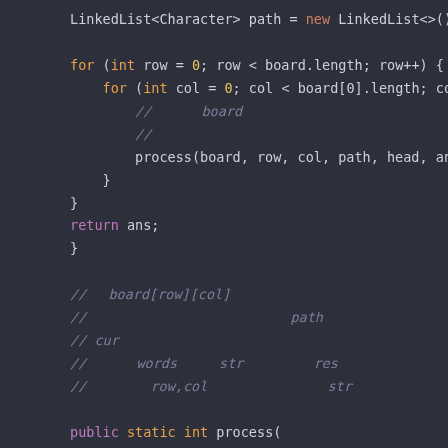[Figure (screenshot): Code snippet in dark-themed IDE showing Java code for a board traversal algorithm with LinkedList, nested for-loops, comments in mixed characters, and a process() method declaration.]